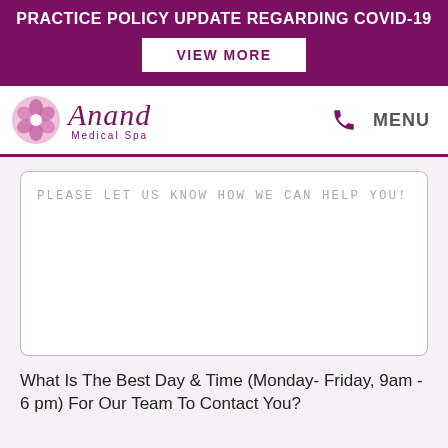PRACTICE POLICY UPDATE REGARDING COVID-19
VIEW MORE
[Figure (logo): Anand Medical Spa logo with flower graphic and cursive text]
MENU
PLEASE LET US KNOW HOW WE CAN HELP YOU!
What Is The Best Day & Time (Monday- Friday, 9am - 6 pm) For Our Team To Contact You?